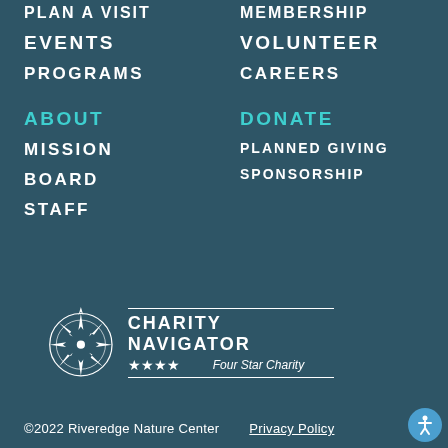PLAN A VISIT
MEMBERSHIP
EVENTS
VOLUNTEER
PROGRAMS
CAREERS
ABOUT
DONATE
MISSION
PLANNED GIVING
BOARD
SPONSORSHIP
STAFF
[Figure (logo): Charity Navigator Four Star Charity logo with compass rose icon]
©2022 Riveredge Nature Center   Privacy Policy